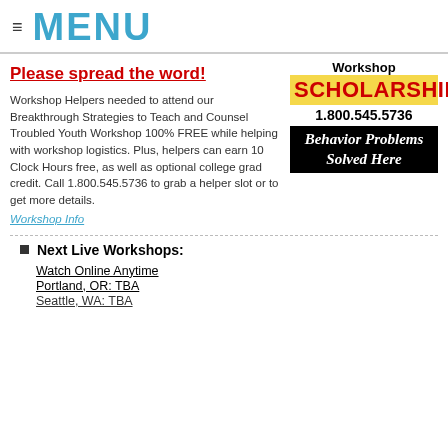≡ MENU
Please spread the word!
[Figure (infographic): Workshop Scholarships advertisement with phone number 1.800.545.5736 and banner reading 'Behavior Problems Solved Here' in script font on black background]
Workshop Helpers needed to attend our Breakthrough Strategies to Teach and Counsel Troubled Youth Workshop 100% FREE while helping with workshop logistics. Plus, helpers can earn 10 Clock Hours free, as well as optional college grad credit. Call 1.800.545.5736 to grab a helper slot or to get more details.
Workshop Info
Next Live Workshops:
Watch Online Anytime
Portland, OR: TBA
Seattle, WA: TBA